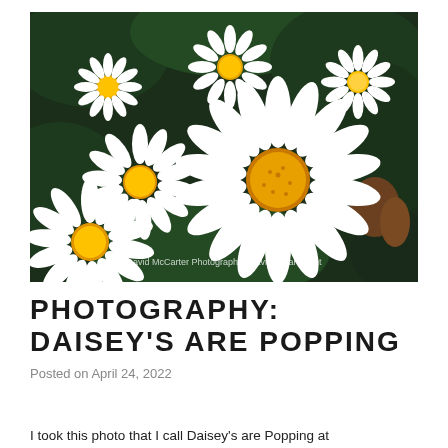[Figure (photo): Close-up photograph of multiple white daisy flowers with yellow centers against a dark green leafy background. Watermark text reads: David McCarter Photography - davidmccarter.net]
PHOTOGRAPHY: DAISEY'S ARE POPPING
Posted on April 24, 2022
I took this photo that I call Daisey's are Popping at